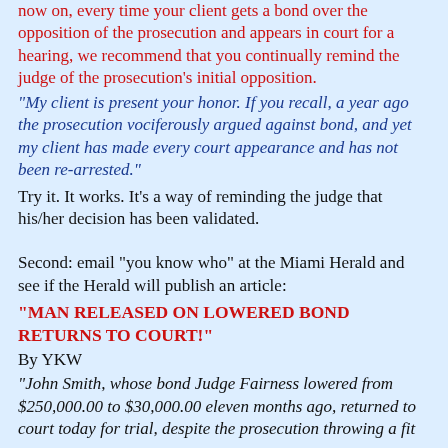That's why we have two recommendations. First: from now on, every time your client gets a bond over the opposition of the prosecution and appears in court for a hearing, we recommend that you continually remind the judge of the prosecution's initial opposition.
"My client is present your honor. If you recall, a year ago the prosecution vociferously argued against bond, and yet my client has made every court appearance and has not been re-arrested."
Try it. It works. It's a way of reminding the judge that his/her decision has been validated.
Second: email "you know who" at the Miami Herald and see if the Herald will publish an article:
"MAN RELEASED ON LOWERED BOND RETURNS TO COURT!"
By YKW
"John Smith, whose bond Judge Fairness lowered from $250,000.00 to $30,000.00 eleven months ago, returned to court today for trial, despite the prosecution throwing a fit